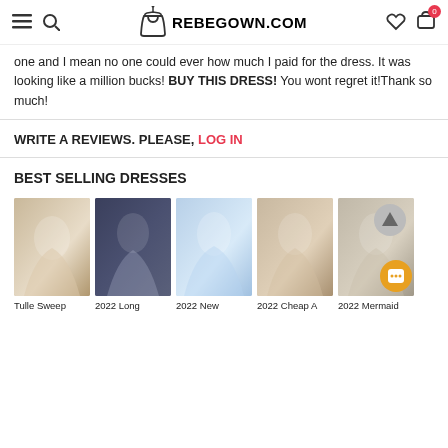REBEGOWN.COM
one and I mean no one could ever how much I paid for the dress. It was looking like a million bucks! BUY THIS DRESS! You wont regret it!Thank so much!
WRITE A REVIEWS. PLEASE, LOG IN
BEST SELLING DRESSES
[Figure (photo): Grid of 5 wedding dress product photos with captions: Tulle Sweep, 2022 Long, 2022 New, 2022 Cheap A, 2022 Mermaid]